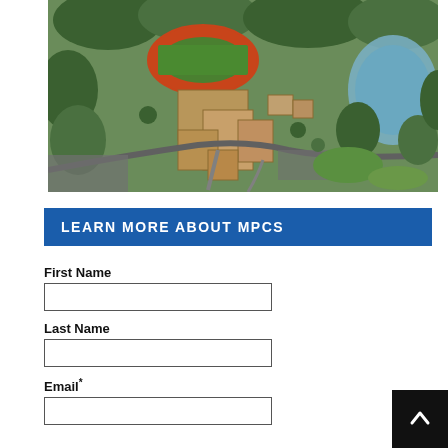[Figure (photo): Aerial view of MPCS campus showing buildings, athletic track, parking lots, green trees, and a lake/pond in the background]
LEARN MORE ABOUT MPCS
First Name
Last Name
Email*